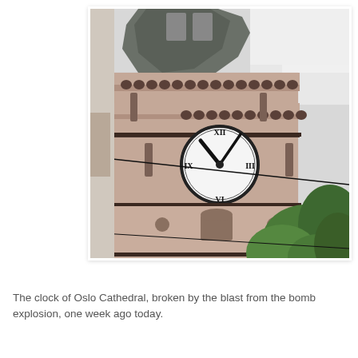[Figure (photo): A photograph of the clock tower of Oslo Cathedral, showing the upper stone masonry tower with decorative crenellations and arched windows. The large round clock face is visible with Roman numerals and dark hands. Green leafy tree branches appear in the lower right. The sky is overcast/white in the upper right.]
The clock of Oslo Cathedral, broken by the blast from the bomb explosion, one week ago today.